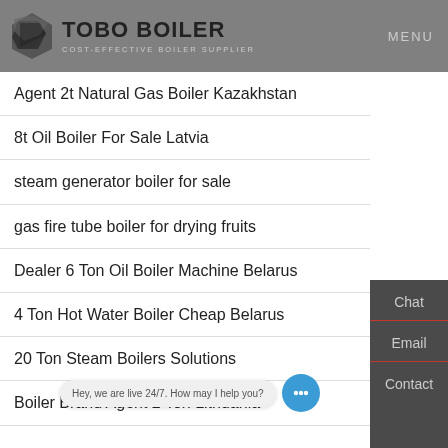TOBO BOILER — COST-EFFECTIVE BOILER SUPPLIER | MENU
Agent 2t Natural Gas Boiler Kazakhstan
8t Oil Boiler For Sale Latvia
steam generator boiler for sale
gas fire tube boiler for drying fruits
Dealer 6 Ton Oil Boiler Machine Belarus
4 Ton Hot Water Boiler Cheap Belarus
20 Ton Steam Boilers Solutions
Boiler Brand Agent 2 Ton Lithuania
Hey, we are live 24/7. How may I help you?